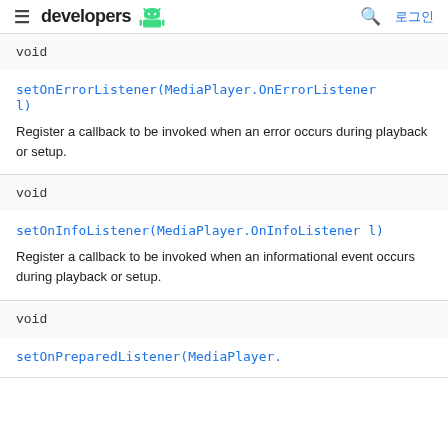developers 로그인
void
setOnErrorListener(MediaPlayer.OnErrorListener l)
Register a callback to be invoked when an error occurs during playback or setup.
void
setOnInfoListener(MediaPlayer.OnInfoListener l)
Register a callback to be invoked when an informational event occurs during playback or setup.
void
setOnPreparedListener(MediaPlayer.